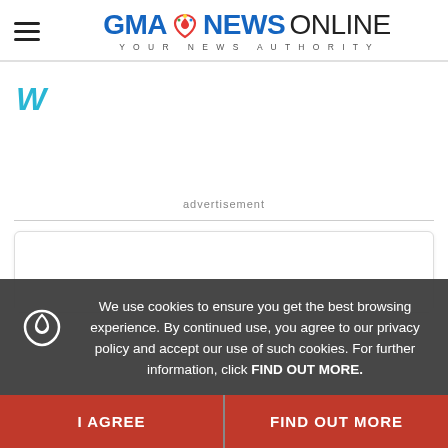[Figure (logo): GMA News Online logo with heart icon and tagline YOUR NEWS AUTHORITY]
[Figure (other): Advertisement placeholder with stylized W icon in teal/blue]
advertisement
[Figure (other): Content card placeholder, white rounded rectangle with border]
We use cookies to ensure you get the best browsing experience. By continued use, you agree to our privacy policy and accept our use of such cookies. For further information, click FIND OUT MORE.
I AGREE
FIND OUT MORE